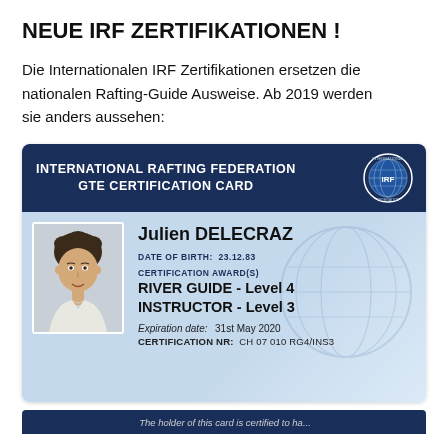NEUE IRF ZERTIFIKATIONEN !
Die Internationalen IRF Zertifikationen ersetzen die nationalen Rafting-Guide Ausweise. Ab 2019 werden sie anders aussehen:
[Figure (photo): International Rafting Federation GTE Certification Card for Julien DELECRAZ, Date of Birth: 23.12.83, Certification Award(s): River Guide - Level 4, Instructor - Level 3, Expiration date: 31st May 2020, Certification NR: CH 07 010 RG4/INS3]
[Figure (photo): Bottom portion of a second IRF certification card, partially visible, showing dark navy header and italic text 'The holder of this card is certified to have...']